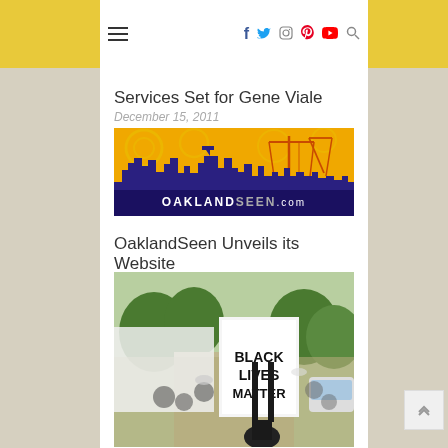Navigation bar with hamburger menu, social icons (Facebook, Twitter, Instagram, Pinterest, YouTube), and search icon
Services Set for Gene Viale
December 15, 2011
[Figure (illustration): OaklandSeen.com banner — purple city skyline silhouette with cranes against a yellow/orange swirly background, white text OAKLANDSEEN.com]
OaklandSeen Unveils its Website
March 23, 2010
[Figure (photo): Street protest photo showing crowd marching, prominent sign reading BLACK LIVES MATTER held up in the foreground, trees and cars visible in background]